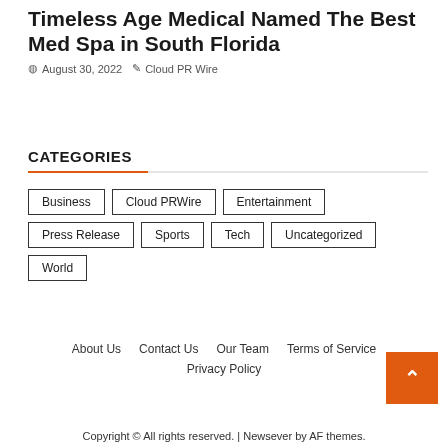Timeless Age Medical Named The Best Med Spa in South Florida
August 30, 2022   Cloud PR Wire
CATEGORIES
Business
Cloud PRWire
Entertainment
Press Release
Sports
Tech
Uncategorized
World
About Us   Contact Us   Our Team   Terms of Service   Privacy Policy
Copyright © All rights reserved. | Newsever by AF themes.